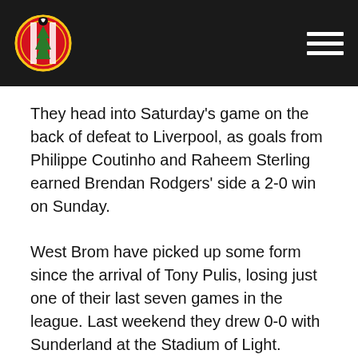[Figure (logo): Southampton FC crest logo on dark header bar with hamburger menu icon]
They head into Saturday's game on the back of defeat to Liverpool, as goals from Philippe Coutinho and Raheem Sterling earned Brendan Rodgers' side a 2-0 win on Sunday.
West Brom have picked up some form since the arrival of Tony Pulis, losing just one of their last seven games in the league. Last weekend they drew 0-0 with Sunderland at the Stadium of Light.
At the Hawthorns so far this season the Baggies have won four, drawn three and lost six of their 13 games, while Saints have won seven, drawn one and lost four